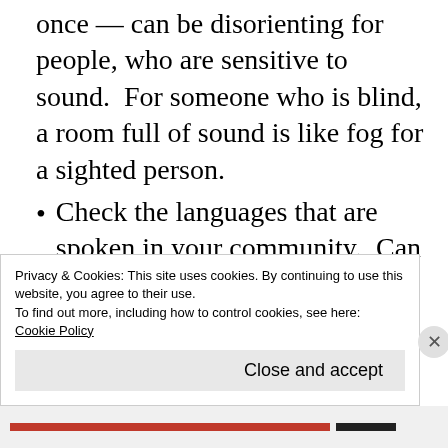once — can be disorienting for people, who are sensitive to sound.  For someone who is blind, a room full of sound is like fog for a sighted person.
Check the languages that are spoken in your community.  Can you offer handouts in languages that are frequently spoken in your community?
In selecting colors for your presentation, be aware that some people are color-blind and may not be to distinguish the colors…
Privacy & Cookies: This site uses cookies. By continuing to use this website, you agree to their use.
To find out more, including how to control cookies, see here:
Cookie Policy